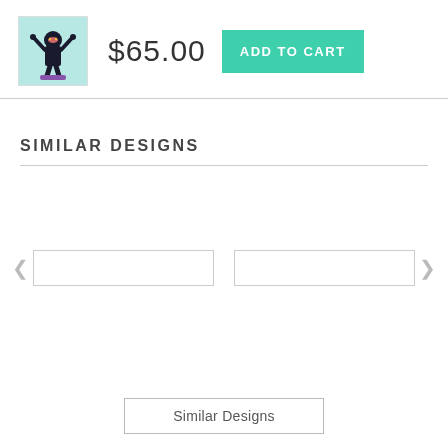[Figure (illustration): Small product thumbnail image of a cartoon ninja character in black outfit with arms raised, standing on a surface, teal/light blue background]
$65.00
ADD TO CART
SIMILAR DESIGNS
[Figure (other): Carousel navigation area with left arrow, two empty image slots, and right arrow for similar designs]
Similar Designs